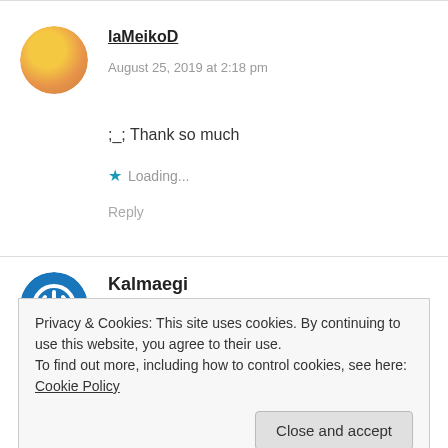[Figure (illustration): Avatar image of laMeikoD, a cartoon girl with blonde hair and flowers]
laMeikoD
August 25, 2019 at 2:18 pm
;_; Thank so much
★ Loading...
Reply
[Figure (logo): Blue circular power button icon avatar for Kalmaegi]
Kalmaegi
August 25, 2019 at 9:33 am
Roze... you foolish girl
Privacy & Cookies: This site uses cookies. By continuing to use this website, you agree to their use.
To find out more, including how to control cookies, see here: Cookie Policy
Close and accept